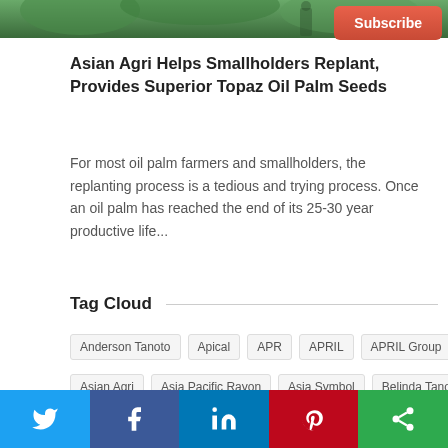[Figure (photo): Top banner photo strip showing outdoor/nature scene]
Subscribe
Asian Agri Helps Smallholders Replant, Provides Superior Topaz Oil Palm Seeds
For most oil palm farmers and smallholders, the replanting process is a tedious and trying process. Once an oil palm has reached the end of its 25-30 year productive life...
Tag Cloud
Anderson Tanoto
Apical
APR
APRIL
APRIL Group
Asian Agri
Asia Pacific Rayon
Asia Symbol
Belinda Tanoto
[Figure (infographic): Social media share bar with Twitter, Facebook, LinkedIn, Pinterest, and other sharing icons]